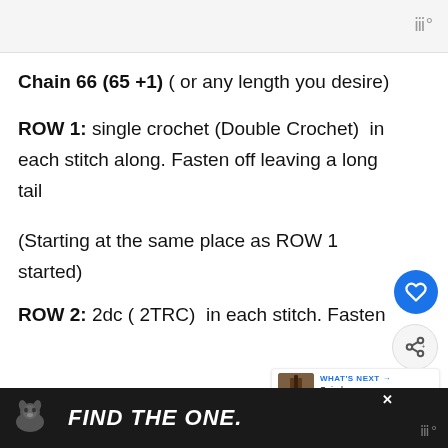Chain 66 (65 +1)  ( or any length you desire)
ROW 1: single crochet (Double Crochet)  in each stitch along. Fasten off leaving a long tail
(Starting at the same place as ROW 1 started)
ROW 2: 2dc ( 2TRC)  in each stitch. Fasten
[Figure (other): FIND THE ONE advertisement banner with dog image]